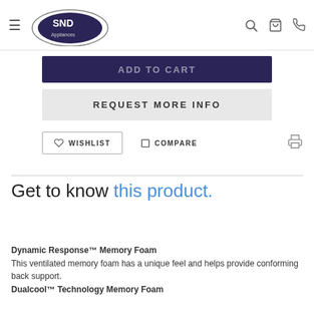SND Appliances
ADD TO CART
REQUEST MORE INFO
WISHLIST   COMPARE
Get to know this product.
Dynamic Response™ Memory Foam
This ventilated memory foam has a unique feel and helps provide conforming back support.
Dualcool™ Technology Memory Foam